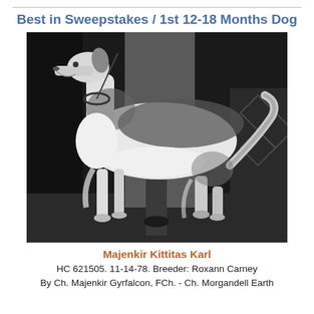Best in Sweepstakes / 1st 12-18 Months Dog
[Figure (photo): Black and white photograph of a Borzoi dog standing in show pose (stacked), facing left, with a person visible in the background. The dog has long white and dark fur and is posed on a dark floor.]
Majenkir Kittitas Karl
HC 621505. 11-14-78. Breeder: Roxann Carney
By Ch. Majenkir Gyrfalcon, FCh. - Ch. Morgandell Earth